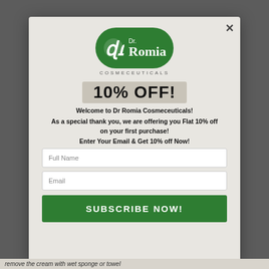[Figure (logo): Dr. Romia Cosmeceuticals logo — green pill-shaped badge with stylized 'dr' symbol and text 'Dr. Romia' with 'COSMECEUTICALS' below]
10% OFF!
Welcome to Dr Romia Cosmeceuticals!
As a special thank you, we are offering you Flat 10% off on your first purchase!
Enter Your Email & Get 10% off Now!
Full Name
Email
SUBSCRIBE NOW!
remove the cream with wet sponge or towel